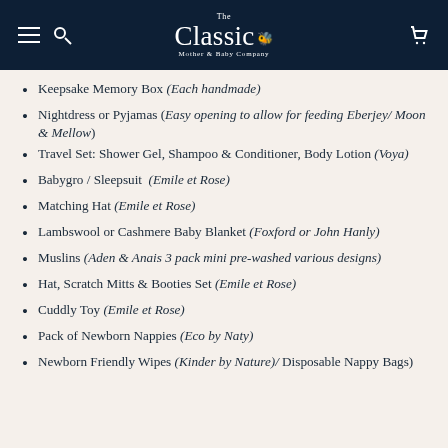The Classic Mother & Baby Company
Keepsake Memory Box (Each handmade)
Nightdress or Pyjamas (Easy opening to allow for feeding Eberjey/ Moon & Mellow)
Travel Set: Shower Gel, Shampoo & Conditioner, Body Lotion (Voya)
Babygro / Sleepsuit (Emile et Rose)
Matching Hat (Emile et Rose)
Lambswool or Cashmere Baby Blanket (Foxford or John Hanly)
Muslins (Aden & Anais 3 pack mini pre-washed various designs)
Hat, Scratch Mitts & Booties Set (Emile et Rose)
Cuddly Toy (Emile et Rose)
Pack of Newborn Nappies (Eco by Naty)
Newborn Friendly Wipes (Kinder by Nature)/ Disposable Nappy Bags)